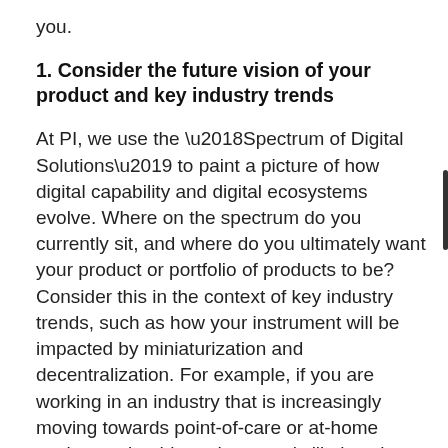you.
1. Consider the future vision of your product and key industry trends
At PI, we use the ‘Spectrum of Digital Solutions’ to paint a picture of how digital capability and digital ecosystems evolve. Where on the spectrum do you currently sit, and where do you ultimately want your product or portfolio of products to be? Consider this in the context of key industry trends, such as how your instrument will be impacted by miniaturization and decentralization. For example, if you are working in an industry that is increasingly moving towards point-of-care or at-home testing, a cloud-based system is likely to be more appropriate for your needs going forward. Considering these trends will help you create a clear vision and roadmap